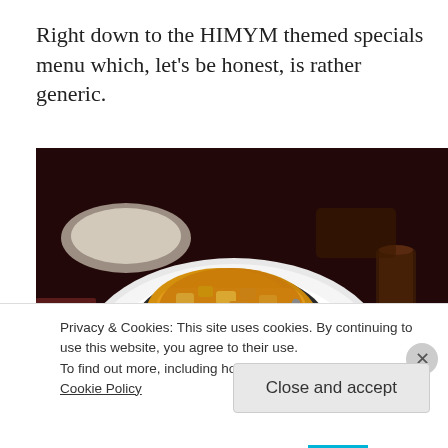Right down to the HIMYM themed specials menu which, let's be honest, is rather generic.
[Figure (photo): A food dish in a white bowl with what appears to be a baked/grilled filling, served on a plate with a black sauce container and a small white ramekin of cream/sauce. Background shows a dark restaurant setting with drinks and another empty plate.]
Privacy & Cookies: This site uses cookies. By continuing to use this website, you agree to their use.
To find out more, including how to control cookies, see here: Cookie Policy
Close and accept